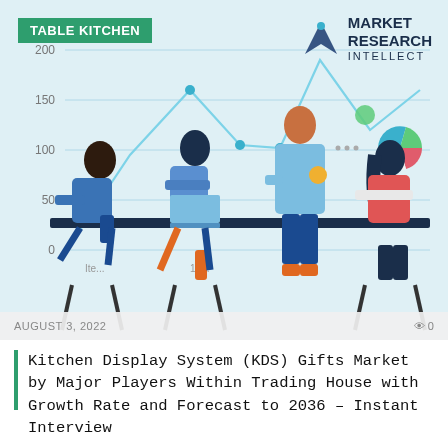[Figure (illustration): Market research illustration showing business people around a table with a line chart background (y-axis: 0,50,100,150,200; x-axis: items) and pie chart, overlaid with Market Research Intellect logo and TABLE KITCHEN category tag. Illustration by marketresearchintellect.com]
AUGUST 3, 2022   0
Kitchen Display System (KDS) Gifts Market by Major Players Within Trading House with Growth Rate and Forecast to 2036 – Instant Interview